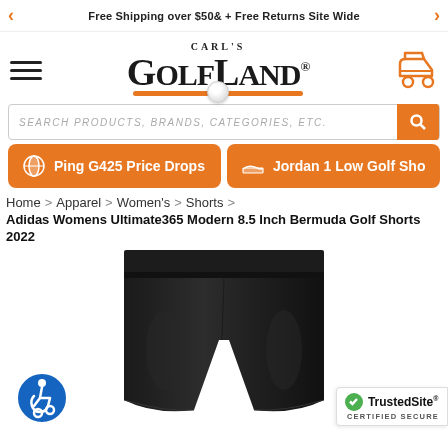Free Shipping over $50& + Free Returns Site Wide
[Figure (logo): Carl's Golfland logo with golf ball and orange underline]
SEARCH PRODUCTS, BRANDS, CATEGORIES, ETC.
Ping G425 Price Drops
Jordan 1 Low Golf Sho
Home > Apparel > Women's > Shorts >
Adidas Womens Ultimate365 Modern 8.5 Inch Bermuda Golf Shorts 2022
[Figure (photo): Adidas Womens Ultimate365 Modern 8.5 Inch Bermuda Golf Shorts 2022 in black color, showing the waistband and shorts body]